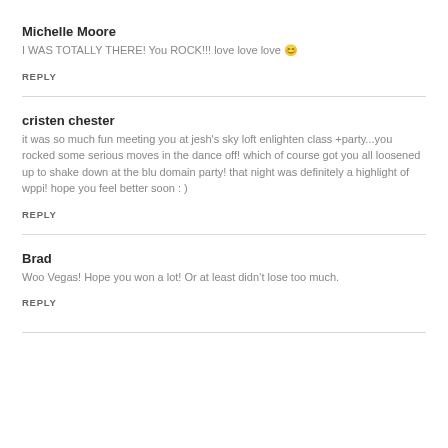Michelle Moore
I WAS TOTALLY THERE! You ROCK!!! love love love 🙂
REPLY
cristen chester
it was so much fun meeting you at jesh's sky loft enlighten class +party...you rocked some serious moves in the dance off! which of course got you all loosened up to shake down at the blu domain party! that night was definitely a highlight of wppi! hope you feel better soon : )
REPLY
Brad
Woo Vegas! Hope you won a lot! Or at least didn't lose too much.
REPLY